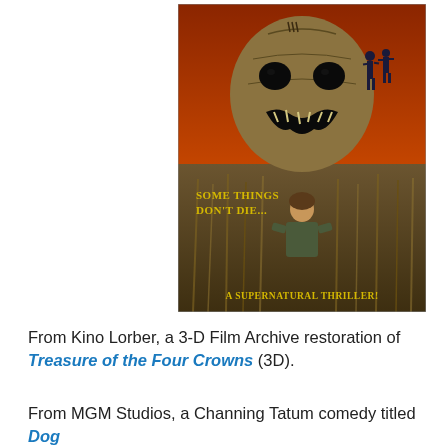[Figure (photo): Movie poster for a supernatural thriller featuring a large scarecrow-like creature with a stitched face and open mouth over a cornfield, a woman standing in the field below it, and two silhouetted figures in the background against a red-orange sky. Text on poster reads 'Some Things Don't Die...' and 'A Supernatural Thriller!']
From Kino Lorber, a 3-D Film Archive restoration of Treasure of the Four Crowns (3D).
From MGM Studios, a Channing Tatum comedy titled Dog